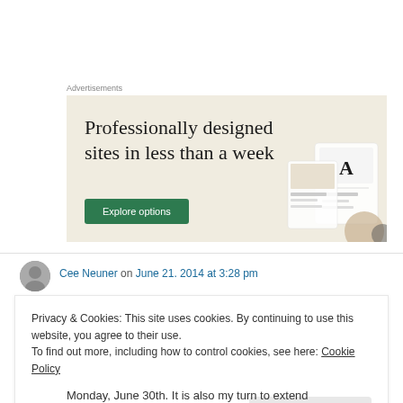Advertisements
[Figure (illustration): Advertisement banner with beige background. Large serif text reads 'Professionally designed sites in less than a week'. Green button labeled 'Explore options'. Device mockups visible on the right side.]
Cee Neuner on June 21. 2014 at 3:28 pm
Privacy & Cookies: This site uses cookies. By continuing to use this website, you agree to their use.
To find out more, including how to control cookies, see here: Cookie Policy
Close and accept
Monday, June 30th. It is also my turn to extend